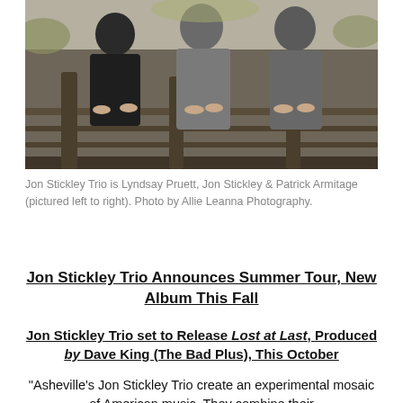[Figure (photo): Three members of Jon Stickley Trio standing at a wooden railing bridge outdoors, pictured left to right.]
Jon Stickley Trio is Lyndsay Pruett, Jon Stickley & Patrick Armitage (pictured left to right). Photo by Allie Leanna Photography.
Jon Stickley Trio Announces Summer Tour, New Album This Fall
Jon Stickley Trio set to Release Lost at Last, Produced by Dave King (The Bad Plus), This October
“Asheville’s Jon Stickley Trio create an experimental mosaic of American music. They combine their